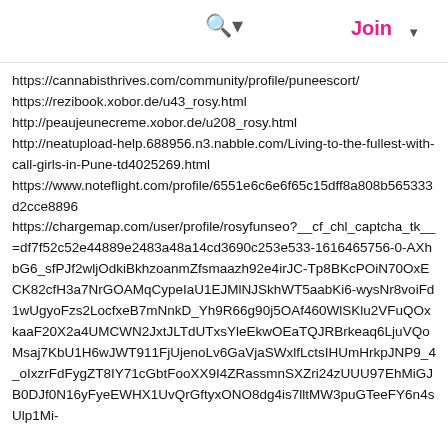Search | Join
https://cannabisthrives.com/community/profile/puneescort/
https://rezibook.xobor.de/u43_rosy.html
http://peaujeunecreme.xobor.de/u208_rosy.html
http://neatupload-help.688956.n3.nabble.com/Living-to-the-fullest-with-call-girls-in-Pune-td4025269.html
https://www.noteflight.com/profile/6551e6c6e6f65c15dff8a808b565333d2cce8896
https://chargemap.com/user/profile/rosyfunseo?__cf_chl_captcha_tk__=df7f52c52e44889e2483a48a14cd3690c253e533-1616465756-0-AXhbG6_sfPJf2wljOdkiBkhzoanmZfsmaazh92e4irJC-Tp8BKcPOiN70OxECK82cfH3a7NrGOAMqCypeIaU1EJMlNJSkhWT5aabKi6-wysNr8voiFd1wUgyoFzs2LocfxeB7mNnkD_Yh9R66g90j5OAf460WlSKlu2VFuQOxkaaF20X2a4UMCWN2JxtJLTdUTxsYleEkwOEaTQJRBrkeaq6LjuVQoMsaj7KbU1H6wJWT911FjUjenoLv6GaVjaSWxlfLctsIHUmHrkpJNP9_4_oIxzrFdFygZT8IY71cGbtFooXX9I4ZRassmnSXZri24zUUU97EhMiGJB0DJf0N16yFyeEWHX1UvQrGftyxONO8dg4is7lltMW3puGTeeFY6n4sUlp1Mi-